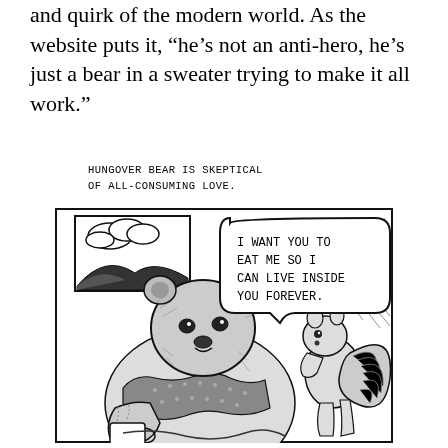and quirk of the modern world. As the website puts it, "he's not an anti-hero, he's just a bear in a sweater trying to make it all work."
HUNGOVER BEAR IS SKEPTICAL OF ALL-CONSUMING LOVE.
[Figure (illustration): Black and white comic illustration showing a large bear wearing a sweater sitting indoors near a window, looking skeptically at a small squirrel standing before it. The squirrel has a speech bubble saying 'I WANT YOU TO EAT ME SO I CAN LIVE INSIDE YOU FOREVER.' The bear holds a mug. The scene is drawn in a detailed crosshatching style.]